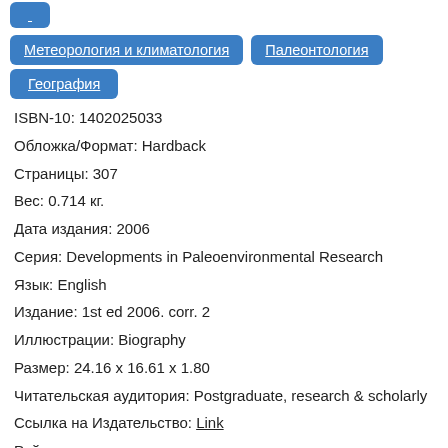Метеорология и климатология
Палеонтология
География
ISBN-10: 1402025033
Обложка/Формат: Hardback
Страницы: 307
Вес: 0.714 кг.
Дата издания: 2006
Серия: Developments in Paleoenvironmental Research
Язык: English
Издание: 1st ed 2006. corr. 2
Иллюстрации: Biography
Размер: 24.16 x 16.61 x 1.80
Читательская аудитория: Postgraduate, research & scholarly
Ссылка на Издательство: Link
Рейтинг: